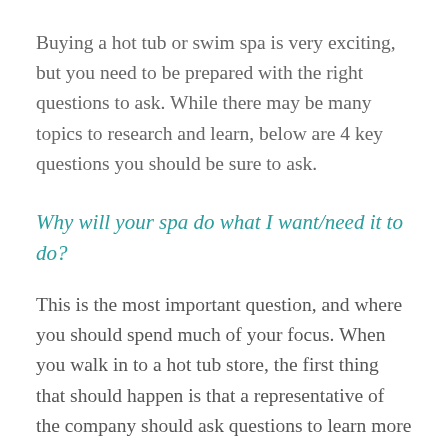Buying a hot tub or swim spa is very exciting, but you need to be prepared with the right questions to ask. While there may be many topics to research and learn, below are 4 key questions you should be sure to ask.
Why will your spa do what I want/need it to do?
This is the most important question, and where you should spend much of your focus. When you walk in to a hot tub store, the first thing that should happen is that a representative of the company should ask questions to learn more about what you